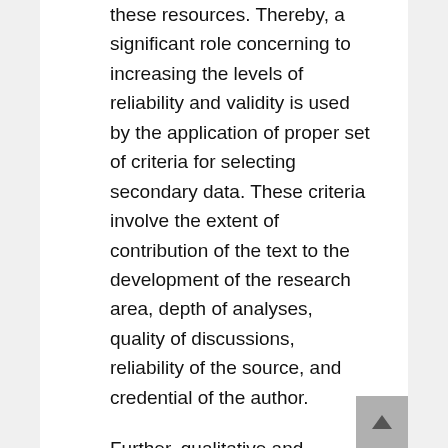these resources. Thereby, a significant role concerning to increasing the levels of reliability and validity is used by the application of proper set of criteria for selecting secondary data. These criteria involve the extent of contribution of the text to the development of the research area, depth of analyses, quality of discussions, reliability of the source, and credential of the author.
Further, qualitative and quantitative are two groups in which the primary data collection methods are categorised. In different formats, the quantitative data collection methods are based in mathematical calculations. Median, mode, mean, regression, methods of correlation, and questionnaires with close-ended questions are involved in methods of quantitative data collection. In comparison to qualitative methods, the quantitative methods can